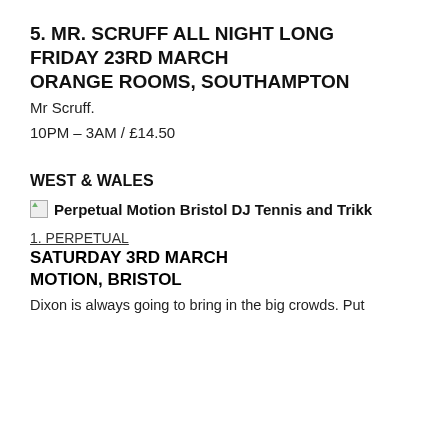5. MR. SCRUFF ALL NIGHT LONG
FRIDAY 23RD MARCH
ORANGE ROOMS, SOUTHAMPTON
Mr Scruff.
10PM – 3AM / £14.50
WEST & WALES
[Figure (photo): Broken image placeholder for Perpetual Motion Bristol DJ Tennis and Trikk]
1. PERPETUAL
SATURDAY 3RD MARCH
MOTION, BRISTOL
Dixon is always going to bring in the big crowds. Put